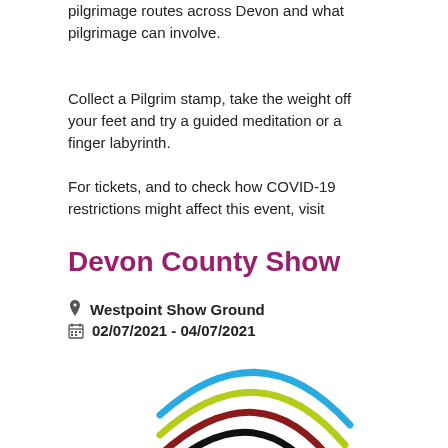pilgrimage routes across Devon and what pilgrimage can involve.
Collect a Pilgrim stamp, take the weight off your feet and try a guided meditation or a finger labyrinth.
For tickets, and to check how COVID-19 restrictions might affect this event, visit
Devon County Show
📍 Westpoint Show Ground
🗓 02/07/2021 - 04/07/2021
[Figure (logo): Devon County Show logo with colorful curved lines (blue, yellow-green, dark red, black) forming a check/swoosh shape above the word Devon in large black serif font]